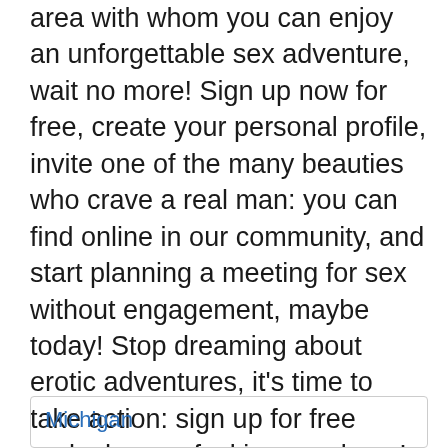area with whom you can enjoy an unforgettable sex adventure, wait no more! Sign up now for free, create your personal profile, invite one of the many beauties who crave a real man: you can find online in our community, and start planning a meeting for sex without engagement, maybe today! Stop dreaming about erotic adventures, it's time to take action: sign up for free and... have a fucking good one!
Michigan